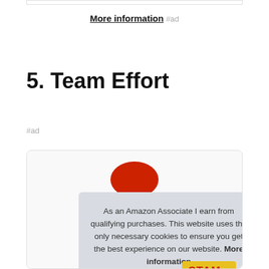More information #ad
5. Team Effort
#ad
[Figure (other): Product card showing a red circular logo/badge partially visible, with a colorful stamp partially visible at the bottom right.]
As an Amazon Associate I earn from qualifying purchases. This website uses the only necessary cookies to ensure you get the best experience on our website. More information